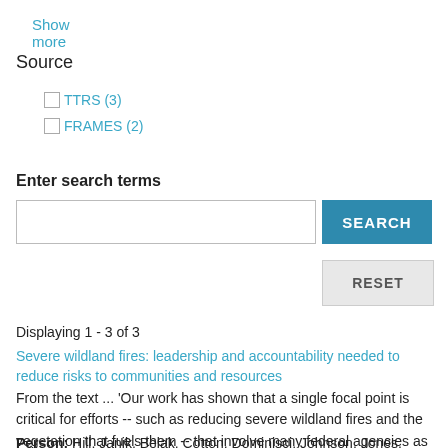Show more
Source
TTRS (3)
FRAMES (2)
Enter search terms
SEARCH
RESET
Displaying 1 - 3 of 3
Severe wildland fires: leadership and accountability needed to reduce risks to communities and resources
From the text ... 'Our work has shown that a single focal point is critical for efforts -- such as reducing severe wildland fires and the vegetation that fuels them -- that involve many federal agencies as well as state and local governments, the...
Person: Hill, Janik, Belak, Cotton, Dominisci, Johnson, Jones, Joy...